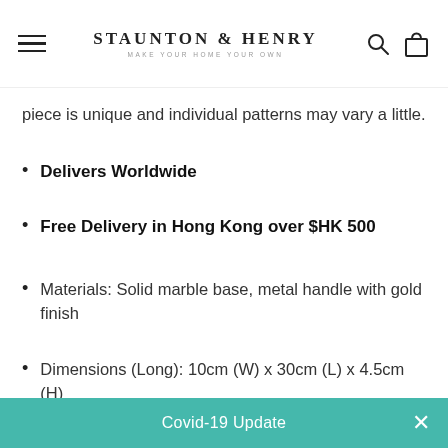Staunton & Henry — Make your home your own
piece is unique and individual patterns may vary a little.
Delivers Worldwide
Free Delivery in Hong Kong over $HK 500
Materials: Solid marble base, metal handle with gold finish
Dimensions (Long): 10cm (W) x 30cm (L) x 4.5cm (H)
Dimensions (Wide): 20cm (W) x 20cm (L) x 4.5cm (H)
Covid-19 Update